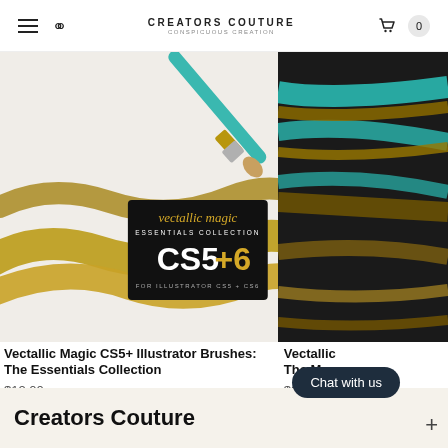Creators Couture – Conspicuous Creation
[Figure (photo): Product image: gold metallic paint brush strokes on light background with a teal and gold artist brush, overlaid with a black badge reading 'vectallic magic ESSENTIALS COLLECTION CS5+6 FOR ILLUSTRATOR CS5+CS6']
[Figure (photo): Partial product image: teal and dark gold/bronze striped metallic surface, partially cropped on right side]
Vectallic Magic CS5+ Illustrator Brushes: The Essentials Collection
$12.00
Vectallic The Mega
$24.00
Chat with us
Creators Couture